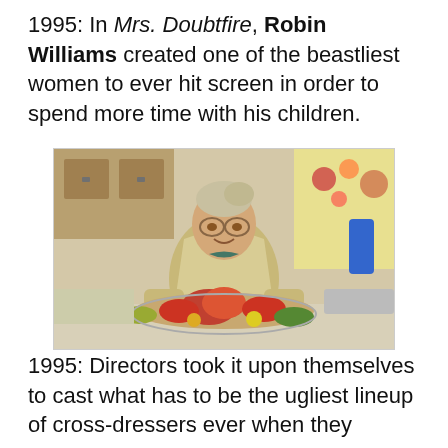1995: In Mrs. Doubtfire, Robin Williams created one of the beastliest women to ever hit screen in order to spend more time with his children.
[Figure (photo): A still from Mrs. Doubtfire showing Robin Williams in character as the elderly female housekeeper Mrs. Doubtfire, wearing a wig, glasses, and an apron, standing in a kitchen with a large spread of food including what appears to be a roasted turkey and lobsters on a platter in front of him.]
1995: Directors took it upon themselves to cast what has to be the ugliest lineup of cross-dressers ever when they